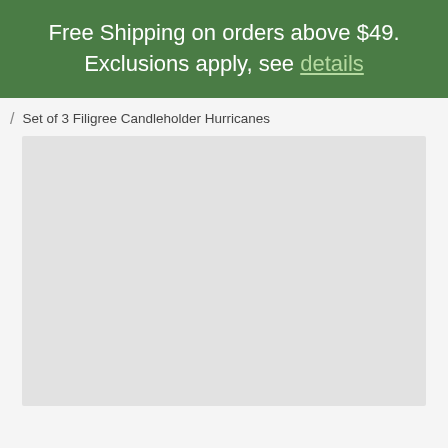Free Shipping on orders above $49. Exclusions apply, see details
/ Set of 3 Filigree Candleholder Hurricanes
[Figure (photo): Light gray placeholder image area for product photo of Set of 3 Filigree Candleholder Hurricanes]